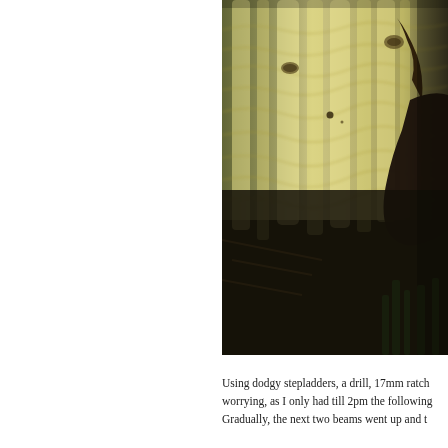[Figure (photo): A hand touching or pressing against a large wooden beam or plank with visible wood grain patterns. The upper portion shows pale golden-green wood grain with knots and growth rings lit by warm backlighting. The lower portion is dark/shadowed. A person's hand and partial forearm are visible on the right side reaching toward the wood.]
Using dodgy stepladders, a drill, 17mm ratch worrying, as I only had till 2pm the following Gradually, the next two beams went up and t